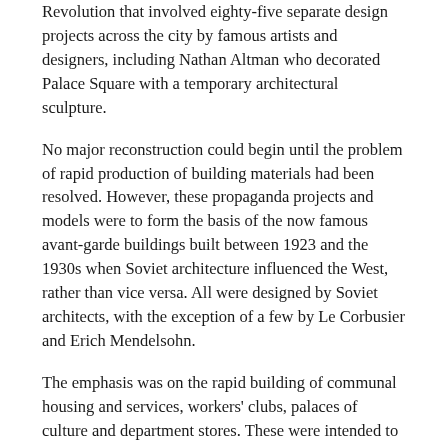Revolution that involved eighty-five separate design projects across the city by famous artists and designers, including Nathan Altman who decorated Palace Square with a temporary architectural sculpture.
No major reconstruction could begin until the problem of rapid production of building materials had been resolved. However, these propaganda projects and models were to form the basis of the now famous avant-garde buildings built between 1923 and the 1930s when Soviet architecture influenced the West, rather than vice versa. All were designed by Soviet architects, with the exception of a few by Le Corbusier and Erich Mendelsohn.
The emphasis was on the rapid building of communal housing and services, workers' clubs, palaces of culture and department stores. These were intended to improve the education and living conditions of the working class and relieve women from domestic work, allowing them to take a full part in industrial production. In the First Five Year Plan (1928–32) top priority was given to building construction to support rapid development in